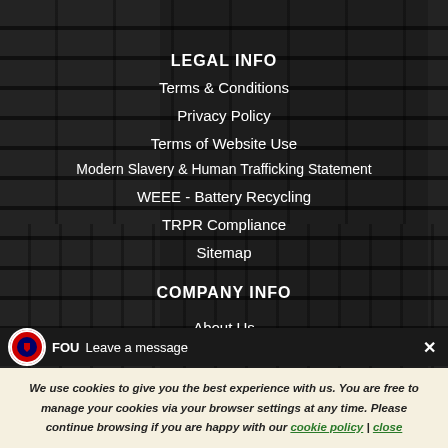LEGAL INFO
Terms & Conditions
Privacy Policy
Terms of Website Use
Modern Slavery & Human Trafficking Statement
WEEE - Battery Recycling
TRPR Compliance
Sitemap
COMPANY INFO
About Us
Blog
Press Enquiries
Careers
FOU Leave a message ×
We use cookies to give you the best experience with us. You are free to manage your cookies via your browser settings at any time. Please continue browsing if you are happy with our cookie policy | close